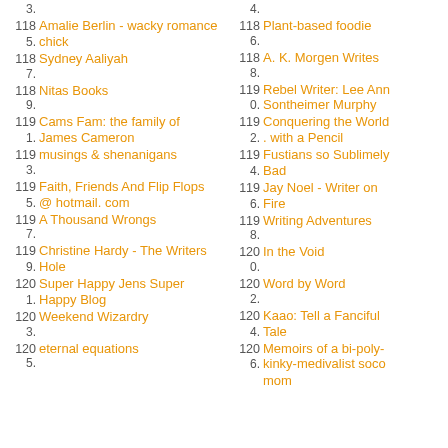3.
118 Amalie Berlin - wacky romance
5. chick
118 Sydney Aaliyah
7.
118 Nitas Books
9.
119 Cams Fam: the family of
1. James Cameron
119 musings & shenanigans
3.
119 Faith, Friends And Flip Flops
5. @ hotmail. com
119 A Thousand Wrongs
7.
119 Christine Hardy - The Writers
9. Hole
120 Super Happy Jens Super
1. Happy Blog
120 Weekend Wizardry
3.
120 eternal equations
5.
4.
118 Plant-based foodie
6.
118 A. K. Morgen Writes
8.
119 Rebel Writer: Lee Ann
0. Sontheimer Murphy
119 Conquering the World
2. . with a Pencil
119 Fustians so Sublimely
4. Bad
119 Jay Noel - Writer on
6. Fire
119 Writing Adventures
8.
120 In the Void
0.
120 Word by Word
2.
120 Kaao: Tell a Fanciful
4. Tale
120 Memoirs of a bi-poly-
6. kinky-medivalist soco mom